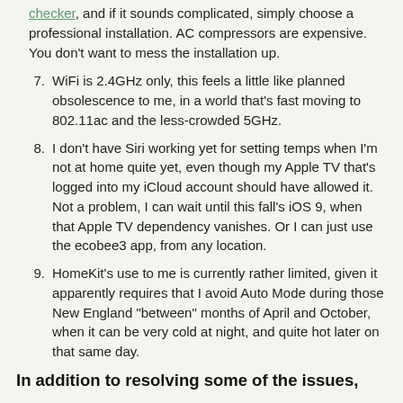checker, and if it sounds complicated, simply choose a professional installation. AC compressors are expensive. You don't want to mess the installation up.
7. WiFi is 2.4GHz only, this feels a little like planned obsolescence to me, in a world that's fast moving to 802.11ac and the less-crowded 5GHz.
8. I don't have Siri working yet for setting temps when I'm not at home quite yet, even though my Apple TV that's logged into my iCloud account should have allowed it. Not a problem, I can wait until this fall's iOS 9, when that Apple TV dependency vanishes. Or I can just use the ecobee3 app, from any location.
9. HomeKit's use to me is currently rather limited, given it apparently requires that I avoid Auto Mode during those New England "between" months of April and October, when it can be very cold at night, and quite hot later on that same day.
In addition to resolving some of the issues,